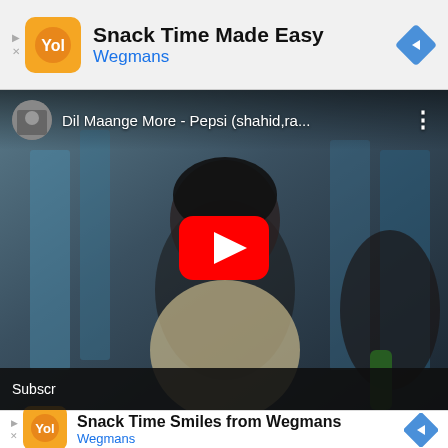[Figure (screenshot): Top advertisement banner for Wegmans with text 'Snack Time Made Easy' and Wegmans brand name, with orange logo and blue navigation arrow icon.]
[Figure (screenshot): YouTube video player showing 'Dil Maange More - Pepsi (shahid,ra...' with a play button overlay. The thumbnail shows a man in a cream shirt. Video header shows channel avatar and three-dot menu.]
[Figure (screenshot): Bottom advertisement banner for Wegmans with text 'Snack Time Smiles from Wegmans' and Wegmans brand name, with orange logo and blue navigation arrow icon. Subscribe bar partially visible on left.]